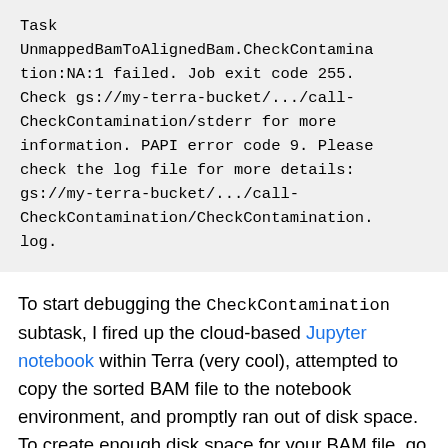Task UnmappedBamToAlignedBam.CheckContamination:NA:1 failed. Job exit code 255. Check gs://my-terra-bucket/.../call-CheckContamination/stderr for more information. PAPI error code 9. Please check the log file for more details: gs://my-terra-bucket/.../call-CheckContamination/CheckContamination.log.
To start debugging the CheckContamination subtask, I fired up the cloud-based Jupyter notebook within Terra (very cool), attempted to copy the sorted BAM file to the notebook environment, and promptly ran out of disk space. To create enough disk space for your BAM file, go